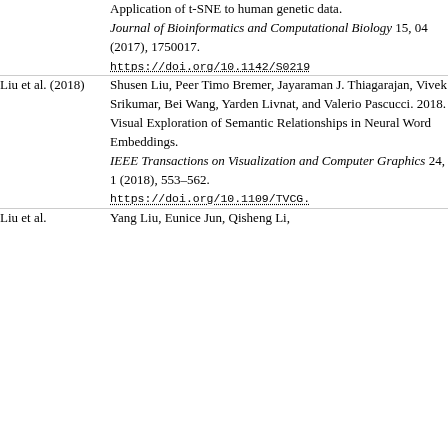Application of t-SNE to human genetic data. Journal of Bioinformatics and Computational Biology 15, 04 (2017), 1750017. https://doi.org/10.1142/S0219
Liu et al. (2018) — Shusen Liu, Peer Timo Bremer, Jayaraman J. Thiagarajan, Vivek Srikumar, Bei Wang, Yarden Livnat, and Valerio Pascucci. 2018. Visual Exploration of Semantic Relationships in Neural Word Embeddings. IEEE Transactions on Visualization and Computer Graphics 24, 1 (2018), 553–562. https://doi.org/10.1109/TVCG.
Liu et al. — Yang Liu, Eunice Jun, Qisheng Li,